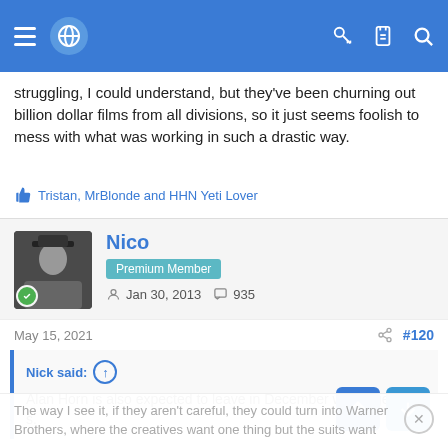Navigation bar with menu, globe icon, key, clipboard, and search icons
struggling, I could understand, but they've been churning out billion dollar films from all divisions, so it just seems foolish to mess with what was working in such a drastic way.
Tristan, MrBlonde and HHN Yeti Lover
Nico
Premium Member
Jan 30, 2013  935
May 15, 2021  #120
Nick said: ↑
Alan Horn is also expected to leave in December when Iger l...s.
The way I see it, if they aren't careful, they could turn into Warner Brothers, where the creatives want one thing but the suits want